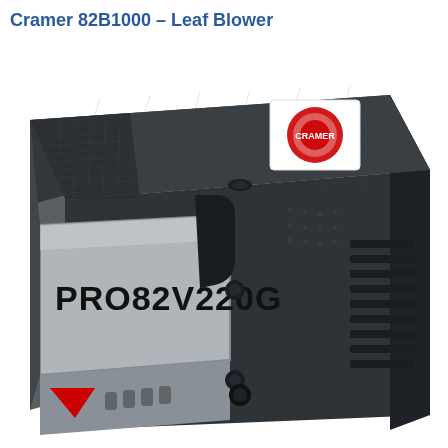Cramer 82B1000 – Leaf Blower
[Figure (photo): Close-up photograph of a Cramer PRO82V220G battery pack for a leaf blower. The battery is dark gray/black with a silver label reading 'PRO82V220G' in bold black text. A white label with a red Cramer logo is visible on top. The battery has ventilation slots on the right side and a red indicator light at the bottom left.]